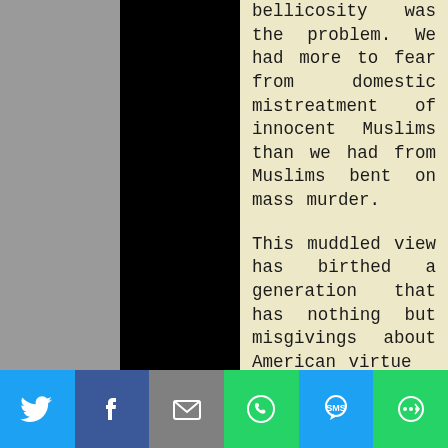bellicosity was the problem. We had more to fear from domestic mistreatment of innocent Muslims than we had from Muslims bent on mass murder.

This muddled view has birthed a generation that has nothing but misgivings about American virtue
[Figure (screenshot): Social media sharing bar with Twitter, Facebook, Email, WhatsApp, SMS, and More buttons]